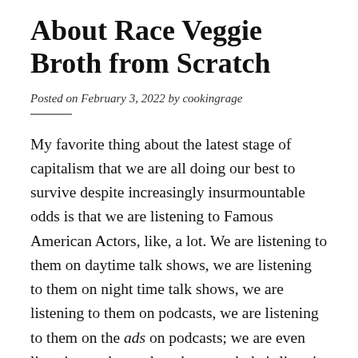About Race Veggie Broth from Scratch
Posted on February 3, 2022 by cookingrage
My favorite thing about the latest stage of capitalism that we are all doing our best to survive despite increasingly insurmountable odds is that we are listening to Famous American Actors, like, a lot. We are listening to them on daytime talk shows, we are listening to them on night time talk shows, we are listening to them on podcasts, we are listening to them on the ads on podcasts; we are even listening to them when they speak their lines in a scripted series or film, sometimes, when we feel like